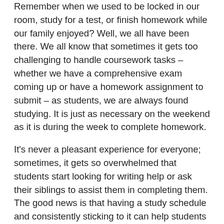Remember when we used to be locked in our room, study for a test, or finish homework while our family enjoyed? Well, we all have been there. We all know that sometimes it gets too challenging to handle coursework tasks – whether we have a comprehensive exam coming up or have a homework assignment to submit – as students, we are always found studying. It is just as necessary on the weekend as it is during the week to complete homework.
It's never a pleasant experience for everyone; sometimes, it gets so overwhelmed that students start looking for writing help or ask their siblings to assist them in completing them. The good news is that having a study schedule and consistently sticking to it can help students learn and complete their assignments on time without any hassle. In this blog post, we will discuss the best time for learning and studying.
How Does Timing Affect Students Brains' Performance?